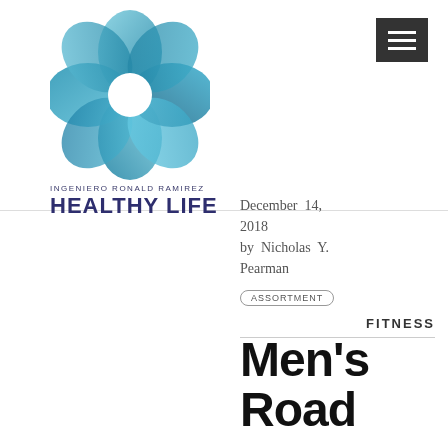[Figure (logo): Flower/petal shaped logo made of overlapping teal/blue circles with white center, for Ingeniero Ronald Ramirez Healthy Life]
INGENIERO RONALD RAMIREZ
HEALTHY LIFE
[Figure (other): Hamburger menu icon (three white horizontal lines on dark grey background)]
December 14, 2018
by Nicholas Y. Pearman
ASSORTMENT
FITNESS
Men's Road